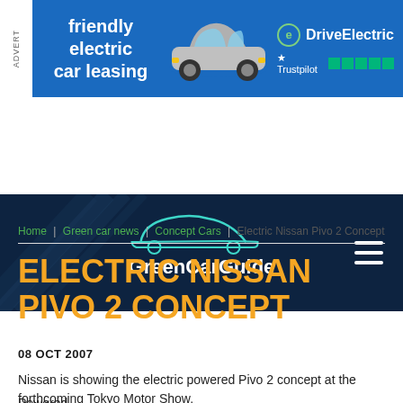[Figure (other): Advertisement banner for DriveElectric electric car leasing with a blue background, image of a MINI electric car, Trustpilot rating stars, and text 'friendly electric car leasing']
[Figure (logo): GreenCarGuide website navigation bar with dark navy background, car outline logo, site name 'GreenCarGuide', and hamburger menu icon]
Home | Green car news | Concept Cars | Electric Nissan Pivo 2 Concept
ELECTRIC NISSAN PIVO 2 CONCEPT
08 OCT 2007
Nissan is showing the electric powered Pivo 2 concept at the forthcoming Tokyo Motor Show.
Powered